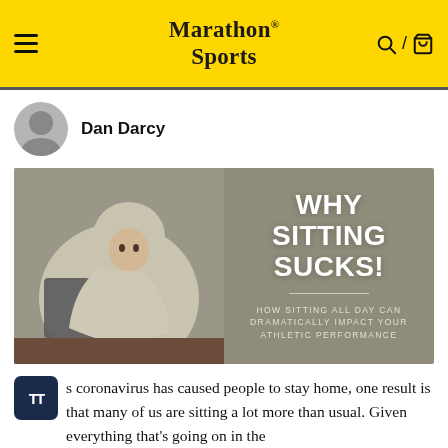Marathon Sports
Dan Darcy
[Figure (photo): Article header image with text overlay reading 'WHY SITTING SUCKS! HOW SITTING ALL DAY CAN DRAMATICALLY IMPACT YOUR ATHLETIC PERFORMANCE' on a taupe/olive background with a person wrapped in a blanket using a laptop.]
As coronavirus has caused people to stay home, one result is that many of us are sitting a lot more than usual. Given everything that's going on in the